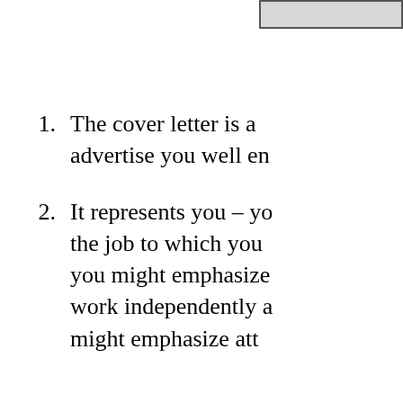[Figure (other): Gray shaded rectangle box in the top-right corner, likely a header box or placeholder]
The cover letter is a advertise you well en
It represents you – yo the job to which you you might emphasize work independently a might emphasize att